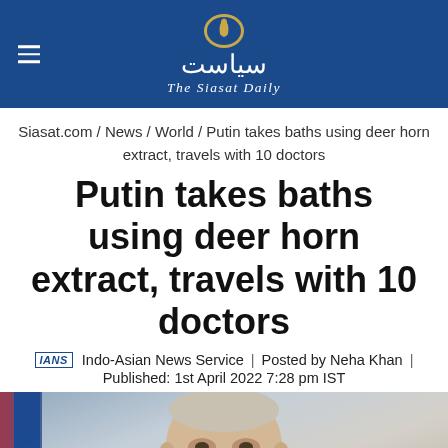[Figure (logo): The Siasat Daily newspaper logo with Urdu script and English subtitle on dark blue background, with hamburger menu icon on left]
Siasat.com / News / World / Putin takes baths using deer horn extract, travels with 10 doctors
Putin takes baths using deer horn extract, travels with 10 doctors
IANS  Indo-Asian News Service  |  Posted by Neha Khan  |  Published: 1st April 2022 7:28 pm IST
[Figure (photo): Photograph of Vladimir Putin seated, with Russian flag visible on the left side]